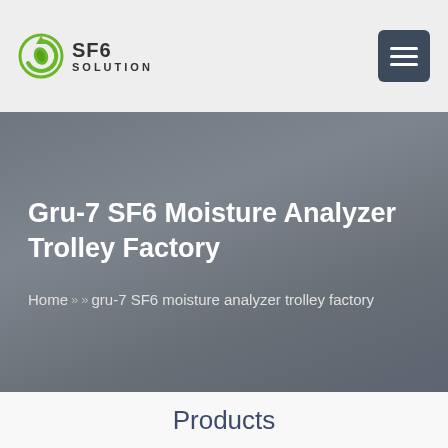SF6 SOLUTION
Gru-7 SF6 Moisture Analyzer Trolley Factory
Home » » gru-7 SF6 moisture analyzer trolley factory
Products